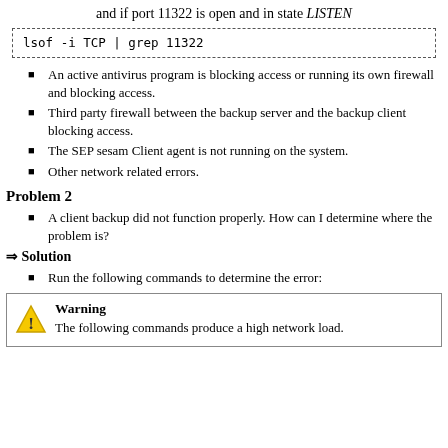and if port 11322 is open and in state LISTEN
lsof -i TCP | grep 11322
An active antivirus program is blocking access or running its own firewall and blocking access.
Third party firewall between the backup server and the backup client blocking access.
The SEP sesam Client agent is not running on the system.
Other network related errors.
Problem 2
A client backup did not function properly. How can I determine where the problem is?
⇒ Solution
Run the following commands to determine the error:
Warning
The following commands produce a high network load.